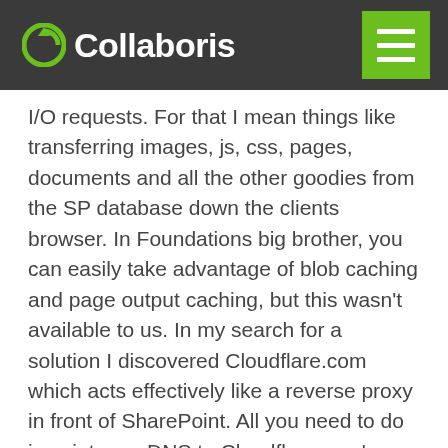Collaboris
I/O requests. For that I mean things like transferring images, js, css, pages, documents and all the other goodies from the SP database down the clients browser. In Foundations big brother, you can easily take advantage of blob caching and page output caching, but this wasn't available to us. In my search for a solution I discovered Cloudflare.com which acts effectively like a reverse proxy in front of SharePoint. All you need to do is point your DNS to Cloudflare.com's nameservers and it will then intercept every request. In a few clicks you can easily get it to cache and compress